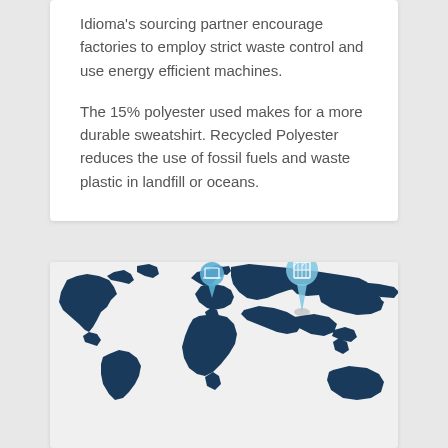Idioma's sourcing partner encourage factories to employ strict waste control and use energy efficient machines.

The 15% polyester used makes for a more durable sweatshirt. Recycled Polyester reduces the use of fossil fuels and waste plastic in landfill or oceans.
[Figure (map): World map infographic in dark navy blue showing global sourcing locations. Two location pin markers are visible — one over Western Europe and one over Central/Eastern Asia — each containing a small white icon representing different manufacturing or sourcing facilities.]